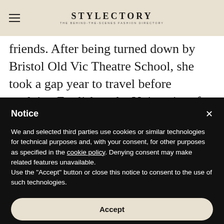STYLECTORY — THE BEHIND-THE-SCENES FASHION DIRECTORY
friends. After being turned down by Bristol Old Vic Theatre School, she took a gap year to travel before studying English at the University of Exeter.
Notice
We and selected third parties use cookies or similar technologies for technical purposes and, with your consent, for other purposes as specified in the cookie policy. Denying consent may make related features unavailable. Use the "Accept" button or close this notice to consent to the use of such technologies.
Accept
Learn more and customize